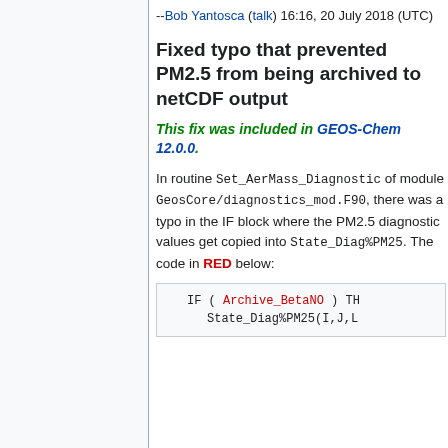--Bob Yantosca (talk) 16:16, 20 July 2018 (UTC)
Fixed typo that prevented PM2.5 from being archived to netCDF output
This fix was included in GEOS-Chem 12.0.0.
In routine Set_AerMass_Diagnostic of module GeosCore/diagnostics_mod.F90, there was a typo in the IF block where the PM2.5 diagnostic values get copied into State_Diag%PM25. The code in RED below:
IF ( Archive_BetaNO ) TH
        State_Diag%PM25(I,J,L